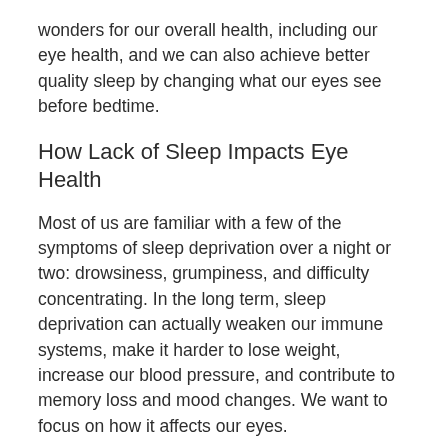wonders for our overall health, including our eye health, and we can also achieve better quality sleep by changing what our eyes see before bedtime.
How Lack of Sleep Impacts Eye Health
Most of us are familiar with a few of the symptoms of sleep deprivation over a night or two: drowsiness, grumpiness, and difficulty concentrating. In the long term, sleep deprivation can actually weaken our immune systems, make it harder to lose weight, increase our blood pressure, and contribute to memory loss and mood changes. We want to focus on how it affects our eyes.
It takes at least five hours of sleep per night for our eyes to replenish themselves so they can function well throughout the day. It